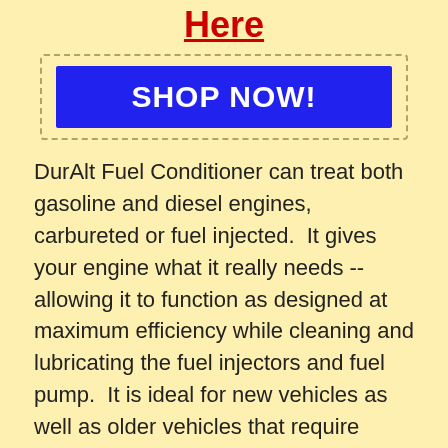Here
[Figure (other): Blue SHOP NOW! button with dashed border outline]
DurAlt Fuel Conditioner can treat both gasoline and diesel engines, carbureted or fuel injected.  It gives your engine what it really needs -- allowing it to function as designed at maximum efficiency while cleaning and lubricating the fuel injectors and fuel pump.  It is ideal for new vehicles as well as older vehicles that require leaded fuel.  DurAlt replaces the